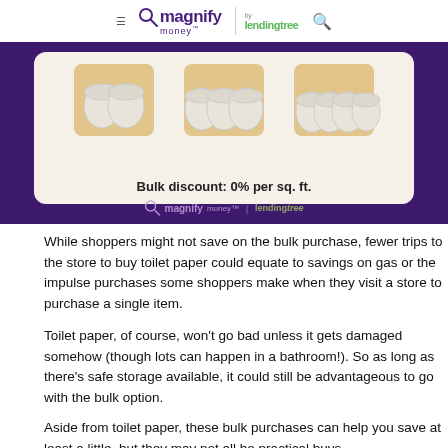magnify money by lendingtree
[Figure (infographic): Infographic on dark purple background showing toilet paper rolls arranged in groups on a light beige rounded card, with text 'Bulk discount: 0% per sq. ft.' and MagnifyMoney by LendingTree watermark logo at the bottom.]
While shoppers might not save on the bulk purchase, fewer trips to the store to buy toilet paper could equate to savings on gas or the impulse purchases some shoppers make when they visit a store to purchase a single item.
Toilet paper, of course, won’t go bad unless it gets damaged somehow (though lots can happen in a bathroom!). So as long as there’s safe storage available, it could still be advantageous to go with the bulk option.
Aside from toilet paper, these bulk purchases can help you save at least a little, but they may not all be practical buys.